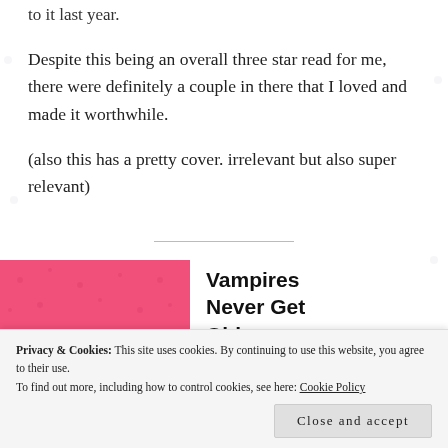to it last year.
Despite this being an overall three star read for me, there were definitely a couple in there that I loved and made it worthwhile.
(also this has a pretty cover. irrelevant but also super relevant)
[Figure (illustration): Book cover of 'Vampires Never Get Old' anthology shown on the right side with pink background and large white text reading 'VAMPIRES']
Vampires Never Get Old
anthology
Privacy & Cookies: This site uses cookies. By continuing to use this website, you agree to their use. To find out more, including how to control cookies, see here: Cookie Policy
Close and accept